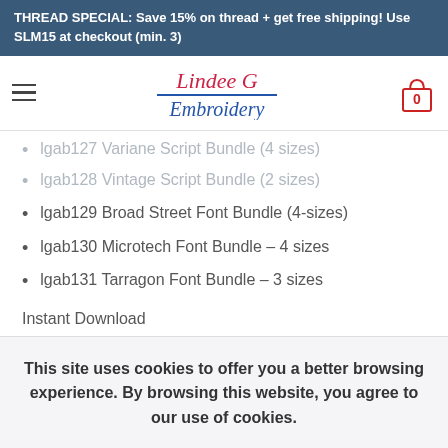THREAD SPECIAL: Save 15% on thread + get free shipping! Use SLM15 at checkout (min. 3)
[Figure (logo): Lindee G Embroidery logo with hamburger menu and cart icon]
lgab127 Variane Script Bundle (4 sizes)
lgab128 Vintage Script Bundle (2 sizes)
lgab129 Broad Street Font Bundle (4-sizes)
lgab130 Microtech Font Bundle – 4 sizes
lgab131 Tarragon Font Bundle – 3 sizes
Instant Download
This site uses cookies to offer you a better browsing experience. By browsing this website, you agree to our use of cookies.